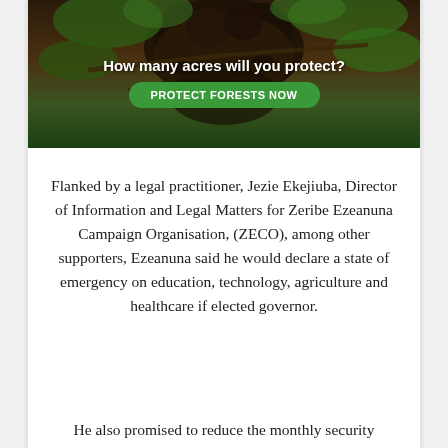[Figure (photo): Advertisement banner showing a monkey/primate in a forest setting with green foliage. Text overlay reads 'How many acres will you protect?' with a green 'PROTECT FORESTS NOW' button.]
Flanked by a legal practitioner, Jezie Ekejiuba, Director of Information and Legal Matters for Zeribe Ezeanuna Campaign Organisation, (ZECO), among other supporters, Ezeanuna said he would declare a state of emergency on education, technology, agriculture and healthcare if elected governor.
He also promised to reduce the monthly security